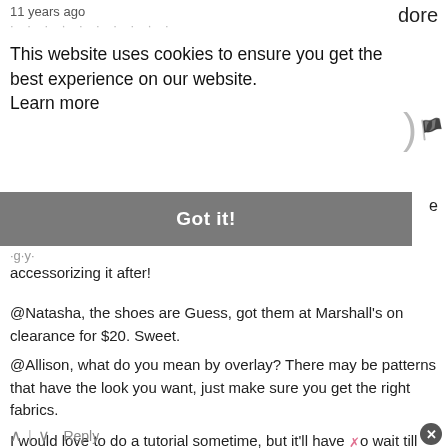11 years ago ... dore
This website uses cookies to ensure you get the best experience on our website.
Learn more
[Figure (infographic): Cookie consent 'Got it!' button bar in grey]
accessorizing it after!
@Natasha, the shoes are Guess, got them at Marshall's on clearance for $20. Sweet.
@Allison, what do you mean by overlay? There may be patterns that have the look you want, just make sure you get the right fabrics.
I would love to do a tutorial sometime, but it'll have to wait till after my wedding next month!
Reply